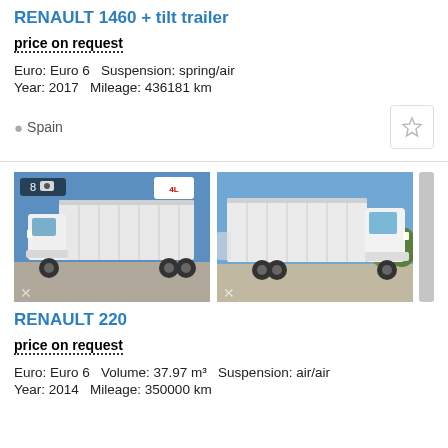RENAULT 1460 + tilt trailer
price on request
Euro: Euro 6  Suspension: spring/air
Year: 2017  Mileage: 436181 km
Spain
[Figure (photo): Photo of white Renault truck with tilt trailer, left-rear view, parking lot background, badge showing 8 photos]
[Figure (photo): Photo of white Renault truck with tilt trailer, right-front view, outdoor background]
RENAULT 220
price on request
Euro: Euro 6  Volume: 37.97 m³  Suspension: air/air
Year: 2014  Mileage: 350000 km